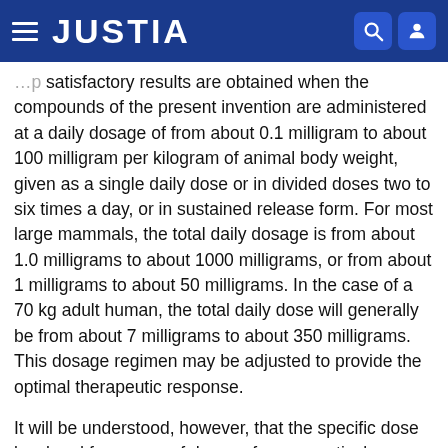JUSTIA
satisfactory results are obtained when the compounds of the present invention are administered at a daily dosage of from about 0.1 milligram to about 100 milligram per kilogram of animal body weight, given as a single daily dose or in divided doses two to six times a day, or in sustained release form. For most large mammals, the total daily dosage is from about 1.0 milligrams to about 1000 milligrams, or from about 1 milligrams to about 50 milligrams. In the case of a 70 kg adult human, the total daily dose will generally be from about 7 milligrams to about 350 milligrams. This dosage regimen may be adjusted to provide the optimal therapeutic response.
It will be understood, however, that the specific dose level and frequency of dosage for any particular patient may be varied and will depend upon a variety of factors